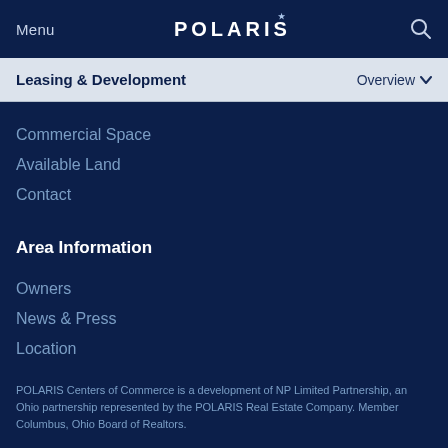Menu | POLARIS | Search
Leasing & Development | Overview
Commercial Space
Available Land
Contact
Area Information
Owners
News & Press
Location
POLARIS Centers of Commerce is a development of NP Limited Partnership, an Ohio partnership represented by the POLARIS Real Estate Company. Member Columbus, Ohio Board of Realtors.